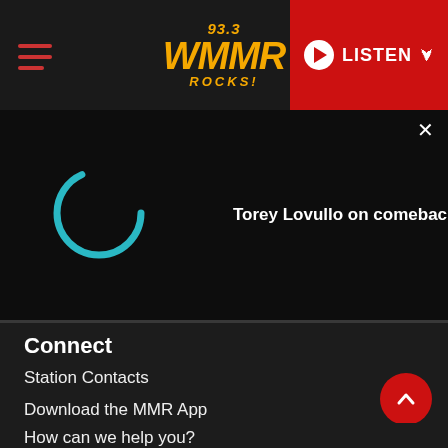[Figure (screenshot): 93.3 WMMR Rocks! radio station website header with hamburger menu, logo, and red LISTEN button]
Torey Lovullo on comeback win
Connect
Station Contacts
Download the MMR App
How can we help you?
Streaming
Official Contest Rules
Employment and Internship Information